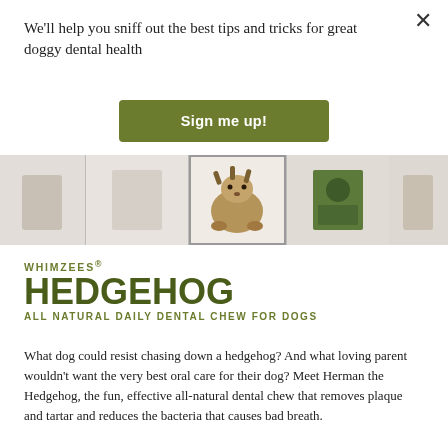We'll help you sniff out the best tips and tricks for great doggy dental health
Sign me up!
[Figure (photo): A horizontal strip of product images including the WHIMZEES Hedgehog chew in the center, surrounded by other product images]
WHIMZEES® HEDGEHOG
ALL NATURAL DAILY DENTAL CHEW FOR DOGS
What dog could resist chasing down a hedgehog? And what loving parent wouldn't want the very best oral care for their dog? Meet Herman the Hedgehog, the fun, effective all-natural dental chew that removes plaque and tartar and reduces the bacteria that causes bad breath.